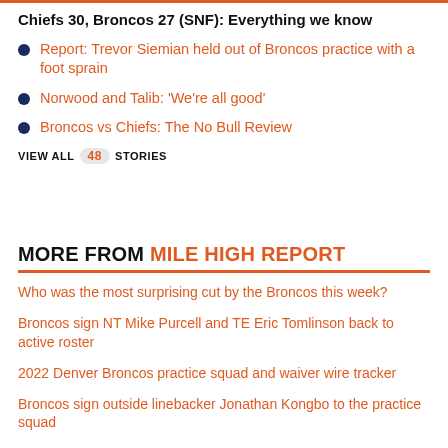Chiefs 30, Broncos 27 (SNF): Everything we know
Report: Trevor Siemian held out of Broncos practice with a foot sprain
Norwood and Talib: 'We're all good'
Broncos vs Chiefs: The No Bull Review
VIEW ALL 48 STORIES
MORE FROM MILE HIGH REPORT
Who was the most surprising cut by the Broncos this week?
Broncos sign NT Mike Purcell and TE Eric Tomlinson back to active roster
2022 Denver Broncos practice squad and waiver wire tracker
Broncos sign outside linebacker Jonathan Kongbo to the practice squad